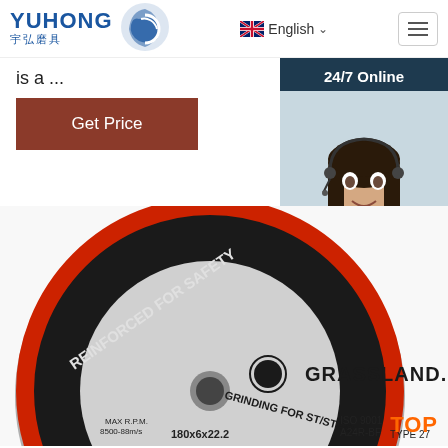YUHONG 宇弘磨具 | English
is a ...
Get Price
[Figure (infographic): Chat widget showing '24/7 Online' header, a female customer service agent with headset, and 'Click here for free chat!' with a QUOTATION button]
[Figure (photo): Grassland brand grinding disc - black abrasive wheel labeled REINFORCED FOR SAFETY, GRINDING FOR ST/STEEL, ISO 9001, A24R-BF, 180x6x22.2, TYPE 27]
TOP